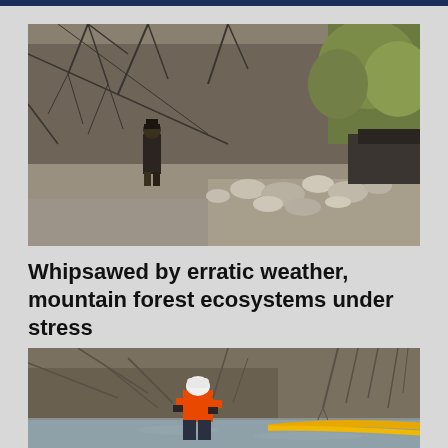[Figure (photo): A person stands on rocky debris beside a stream or river in a forest setting. Bare tree branches and early spring foliage are visible in the background. The scene suggests flood damage or erosion in a mountain forest ecosystem.]
Whipsawed by erratic weather, mountain forest ecosystems under stress
[Figure (photo): A worker in an orange high-visibility jacket and white hard hat bends over near a river bank surrounded by brush and bare branches. A yellow containment boom is visible in the water, suggesting an environmental remediation or cleanup operation.]